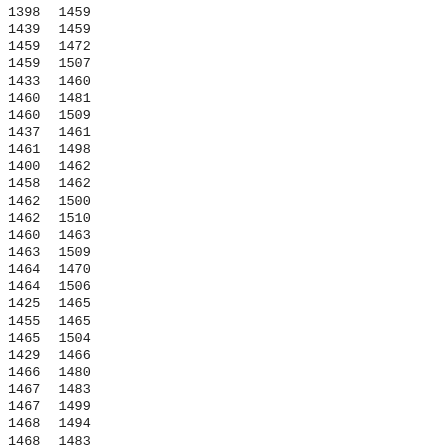| 1398 | 1459 |
| 1439 | 1459 |
| 1459 | 1472 |
| 1459 | 1507 |
| 1433 | 1460 |
| 1460 | 1481 |
| 1460 | 1509 |
| 1437 | 1461 |
| 1461 | 1498 |
| 1400 | 1462 |
| 1458 | 1462 |
| 1462 | 1500 |
| 1462 | 1510 |
| 1460 | 1463 |
| 1463 | 1509 |
| 1464 | 1470 |
| 1464 | 1506 |
| 1425 | 1465 |
| 1455 | 1465 |
| 1465 | 1504 |
| 1429 | 1466 |
| 1466 | 1480 |
| 1467 | 1483 |
| 1467 | 1499 |
| 1468 | 1494 |
| 1468 | 1483 |
| 1468 | 1512 |
| 1463 | 1469 |
| 1469 | 1508 |
| 1469 | 1509 |